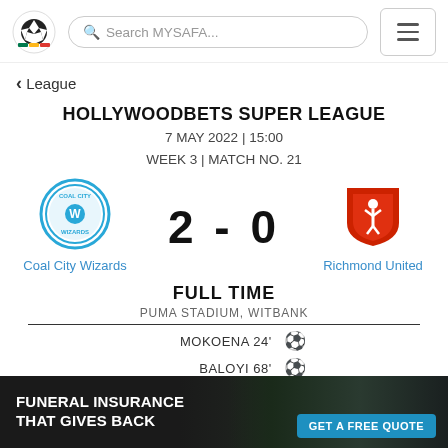Search MYSAFA...
< League
HOLLYWOODBETS SUPER LEAGUE
7 MAY 2022 | 15:00
WEEK 3 | MATCH NO. 21
[Figure (logo): Coal City Wizards team logo - blue circular badge]
Coal City Wizards
2 - 0
[Figure (logo): Richmond United team crest - red shield with soccer player]
Richmond United
FULL TIME
PUMA STADIUM, WITBANK
MOKOENA 24' ⚽
BALOYI 68' ⚽
[Figure (photo): Ad banner showing soccer player with text: FUNERAL INSURANCE THAT GIVES BACK | GET A FREE QUOTE]